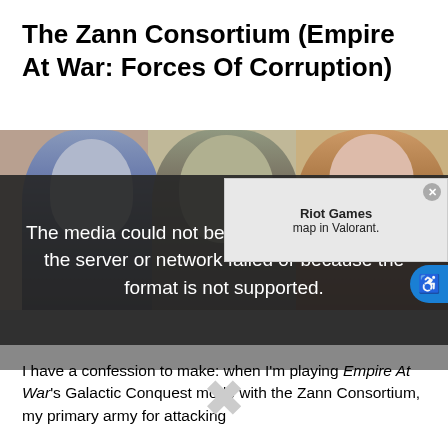The Zann Consortium (Empire At War: Forces Of Corruption)
[Figure (photo): Three video game characters side by side: a pale-haired figure on the left, an alien/creature character in the center, and a dark-haired female character on the right, from Empire At War: Forces Of Corruption]
[Figure (screenshot): Media error overlay reading: The media could not be loaded, either because the server or network failed or because the format is not supported. With an X dismiss button and a partially visible ad overlay showing Riot Games map in Valorant text and an accessibility icon.]
I have a confession to make: when I'm playing Empire At War's Galactic Conquest mode with the Zann Consortium, my primary army for attacking